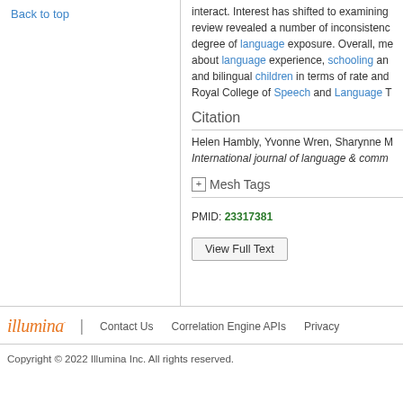Back to top
interact. Interest has shifted to examining review revealed a number of inconsistencies degree of language exposure. Overall, me about language experience, schooling and and bilingual children in terms of rate and Royal College of Speech and Language T
Citation
Helen Hambly, Yvonne Wren, Sharynne M International journal of language & commu
Mesh Tags
PMID: 23317381
View Full Text
illumina | Contact Us  Correlation Engine APIs  Privacy
Copyright © 2022 Illumina Inc. All rights reserved.